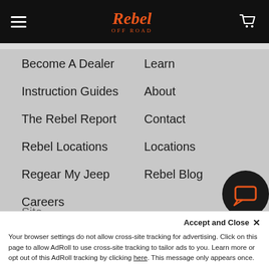Rebel Off Road — navigation header with hamburger menu, logo, and cart icon
Become A Dealer
Learn
Instruction Guides
About
The Rebel Report
Contact
Rebel Locations
Locations
Regear My Jeep
Rebel Blog
Careers
Route+ Shipping Protection
Site...
Accept and Close ×
Your browser settings do not allow cross-site tracking for advertising. Click on this page to allow AdRoll to use cross-site tracking to tailor ads to you. Learn more or opt out of this AdRoll tracking by clicking here. This message only appears once.